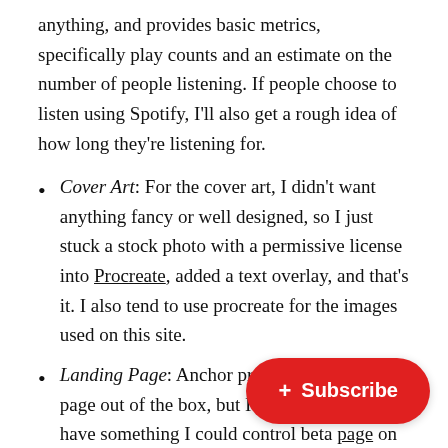anything, and provides basic metrics, specifically play counts and an estimate on the number of people listening. If people choose to listen using Spotify, I'll also get a rough idea of how long they're listening for.
Cover Art: For the cover art, I didn't want anything fancy or well designed, so I just stuck a stock photo with a permissive license into Procreate, added a text overlay, and that's it. I also tend to use procreate for the images used on this site.
Landing Page: Anchor provides a landing page out of the box, but I decided I wanted to have something I could control better, so I made a page on this site to serve that purpose. The whole site is Gatsby, so it was just a matter of